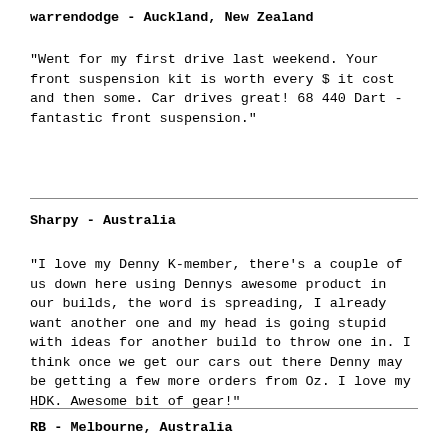warrendodge - Auckland, New Zealand
"Went for my first drive last weekend. Your front suspension kit is worth every $ it cost and then some. Car drives great! 68 440 Dart - fantastic front suspension."
Sharpy - Australia
"I love my Denny K-member, there's a couple of us down here using Dennys awesome product in our builds, the word is spreading, I already want another one and my head is going stupid with ideas for another build to throw one in. I think once we get our cars out there Denny may be getting a few more orders from Oz. I love my HDK. Awesome bit of gear!"
RB - Melbourne, Australia